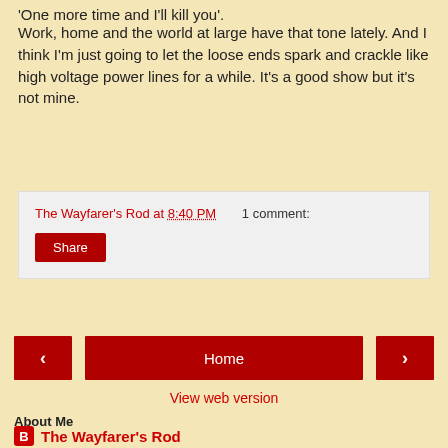'One more time and I'll kill you'.
Work, home and the world at large have that tone lately. And I think I'm just going to let the loose ends spark and crackle like high voltage power lines for a while. It's a good show but it's not mine.
The Wayfarer's Rod at 8:40 PM    1 comment:
Share
Home
View web version
About Me
The Wayfarer's Rod
View my complete profile
Powered by Blogger.